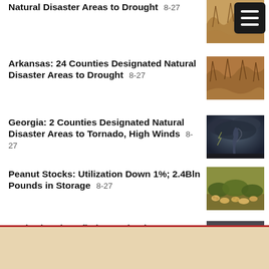Natural Disaster Areas to Drought 8-27
[Figure (photo): Cracked dry earth from drought, with hamburger menu icon overlay]
Arkansas: 24 Counties Designated Natural Disaster Areas to Drought 8-27
[Figure (photo): Cracked dry earth from drought]
Georgia: 2 Counties Designated Natural Disaster Areas to Tornado, High Winds 8-27
[Figure (photo): Dark storm clouds with tornado]
Peanut Stocks: Utilization Down 1%; 2.4Bln Pounds in Storage 8-27
[Figure (photo): Peanuts growing in field]
Reviewing the Inflation Reduction Act
[Figure (photo): Government building interior crowd scene]